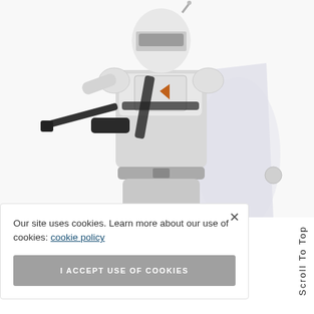[Figure (photo): A white/gray armored Star Wars action figure (Mandalorian/Boba Fett style) holding a blaster rifle, with a white cape, photographed against a white background. The figure is shown from approximately mid-torso upward, cropped at the top and bottom.]
Our site uses cookies. Learn more about our use of cookies: cookie policy
I ACCEPT USE OF COOKIES
Scroll To Top